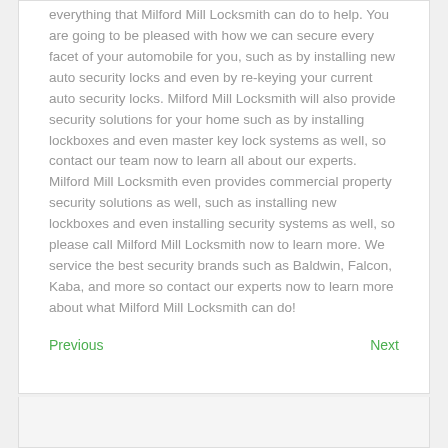everything that Milford Mill Locksmith can do to help. You are going to be pleased with how we can secure every facet of your automobile for you, such as by installing new auto security locks and even by re-keying your current auto security locks. Milford Mill Locksmith will also provide security solutions for your home such as by installing lockboxes and even master key lock systems as well, so contact our team now to learn all about our experts. Milford Mill Locksmith even provides commercial property security solutions as well, such as installing new lockboxes and even installing security systems as well, so please call Milford Mill Locksmith now to learn more. We service the best security brands such as Baldwin, Falcon, Kaba, and more so contact our experts now to learn more about what Milford Mill Locksmith can do!
Previous    Next